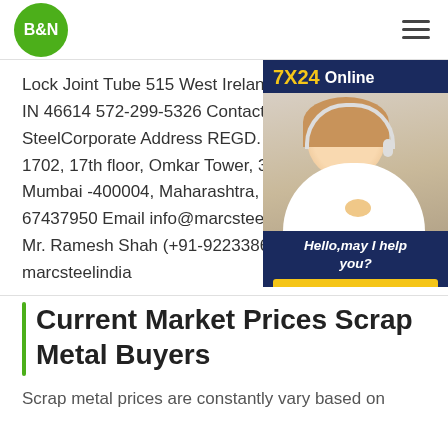B&N | 7X24 Online
Lock Joint Tube 515 West Ireland Roa... IN 46614 572-299-5326 Contact Us - M... SteelCorporate Address REGD. OFFIC... 1702, 17th floor, Omkar Tower, 3rd Khe... Mumbai -400004, Maharashtra, India. ... 67437950 Email info@marcsteelindia ... Mr. Ramesh Shah (+91-9223386613) W... marcsteelindia
[Figure (photo): Customer service agent wearing a headset, smiling. Chat widget with '7X24 Online' header, 'Hello, may I help you?' text, and 'Get Latest Price' yellow button on dark navy background.]
Current Market Prices Scrap Metal Buyers
Scrap metal prices are constantly vary based on